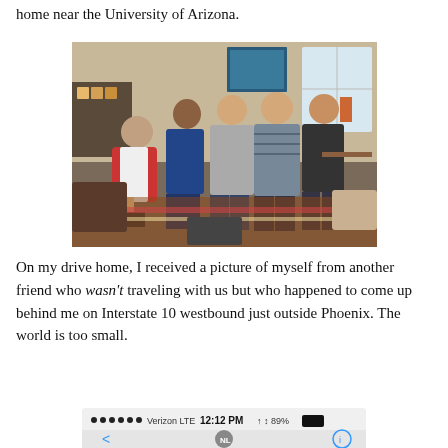home near the University of Arizona.
[Figure (photo): Group photo of six men posing in a living room near the University of Arizona. One man is seated on a couch wearing a red and white shirt, and five men stand behind/beside him. The room has shelves, a window, and a striped rug.]
On my drive home, I received a picture of myself from another friend who wasn't traveling with us but who happened to come up behind me on Interstate 10 westbound just outside Phoenix.  The world is too small.
[Figure (screenshot): iPhone status bar screenshot showing Verizon LTE signal, time 12:12 PM, 89% battery, and a messaging app navigation bar with NL avatar and back/info buttons.]